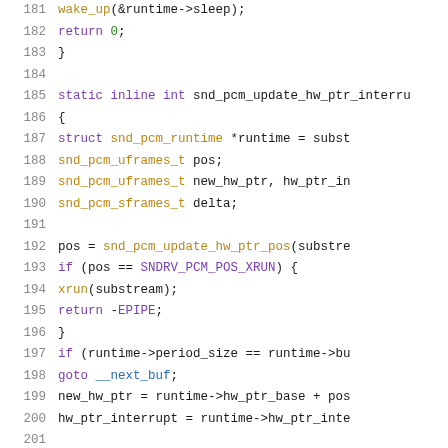[Figure (screenshot): Source code listing showing C function snd_pcm_update_hw_ptr_interrupt with line numbers 181-201. Syntax highlighted code on white background.]